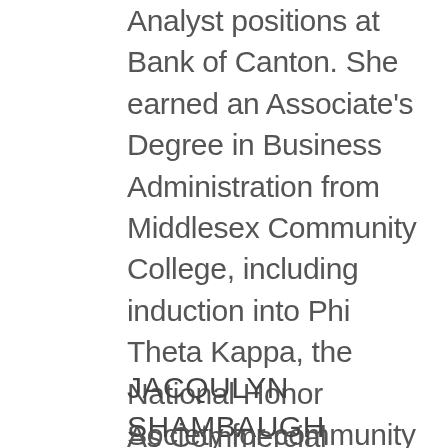Analyst positions at Bank of Canton. She earned an Associate's Degree in Business Administration from Middlesex Community College, including induction into Phi Theta Kappa, the National Honor Society for community colleges. In the community, she serves as Treasurer for the Randolph Youth Softball/Baseball Association.  Harris lives in Randolph with her husband, Matthew, and their three children.
JACQULYN SHAMBAUGH
As Commercial Services